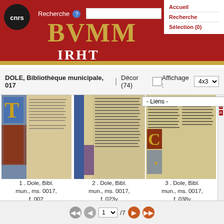BVMM - Bibliothèque virtuelle des manuscrits médiévaux - CNRS IRHT
Recherche
Accueil | Recherche | Sélection (0)
DOLE, Bibliothèque municipale, 017  |  Décor (74)  Affichage : 4x3
- Liens -
[Figure (screenshot): Manuscript thumbnail 1 - illuminated medieval manuscript page with decorated initial]
1 . Dole, Bibl. mun., ms. 0017, f. 002
Comparer
Voir le folio
[Figure (screenshot): Manuscript thumbnail 2 - illuminated medieval manuscript page with decorated border and initial]
2 . Dole, Bibl. mun., ms. 0017, f. 023v
Comparer
[Figure (screenshot): Manuscript thumbnail 3 - illuminated medieval manuscript page with decorated initial]
3 . Dole, Bibl. mun., ms. 0017, f. 038v
Comparer
1 / 7  navigation controls